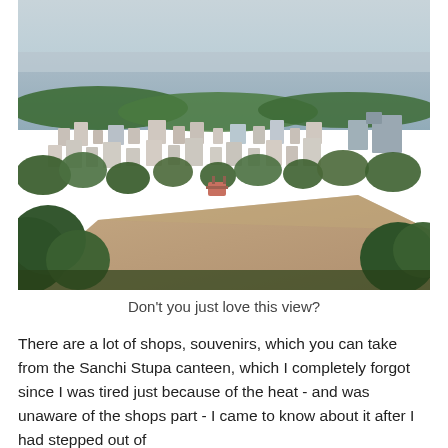[Figure (photo): Aerial/elevated view of a city (likely Sanchi, India) with white buildings and green trees in the foreground and middle ground, a wide river or lake in the background under a hazy sky. A flat rocky platform with a small sign or structure is visible in the lower center of the frame.]
Don't you just love this view?
There are a lot of shops, souvenirs, which you can take from the Sanchi Stupa canteen, which I completely forgot since I was tired just because of the heat - and was unaware of the shops part - I came to know about it after I had stepped out of